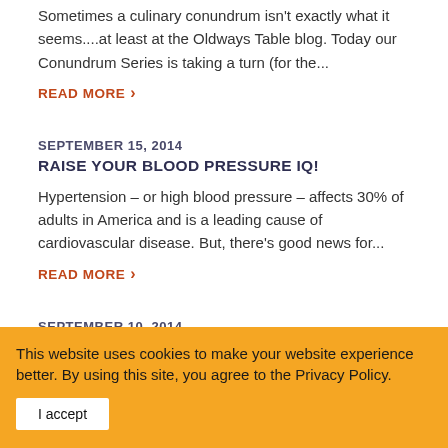Sometimes a culinary conundrum isn't exactly what it seems....at least at the Oldways Table blog. Today our Conundrum Series is taking a turn (for the...
READ MORE ›
SEPTEMBER 15, 2014
RAISE YOUR BLOOD PRESSURE IQ!
Hypertension – or high blood pressure – affects 30% of adults in America and is a leading cause of cardiovascular disease. But, there's good news for...
READ MORE ›
SEPTEMBER 10, 2014
CHOOSING MY CHEESE OF CHOICE
Born and raised in the Midwest, there are two things that I hold
This website uses cookies to make your website experience better. By using this site, you agree to the Privacy Policy.